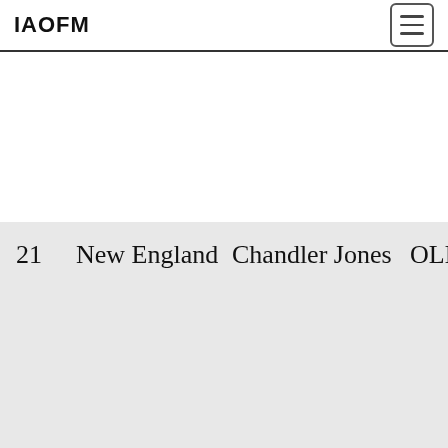IAOFM
| Pick | Team | Player | Position/School |
| --- | --- | --- | --- |
| 21 | New England | Chandler Jones | OLB/Syracuse |